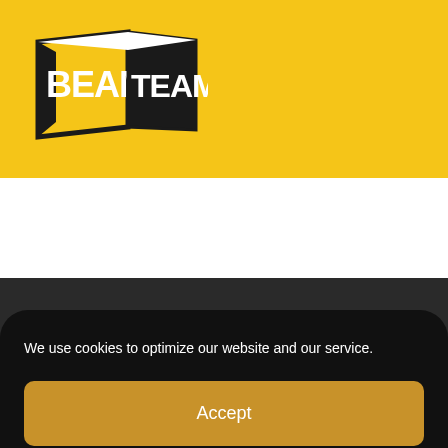[Figure (logo): BEAM TEAM logo in yellow and black on yellow background, top header]
[Figure (logo): BEAM TEAM logo in yellow and black on dark background, footer area]
We use cookies to optimize our website and our service.
Accept
Cookie Policy   Privacy Statement